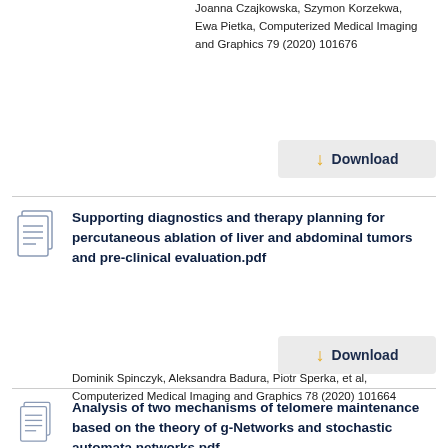Joanna Czajkowska, Szymon Korzekwa, Ewa Pietka, Computerized Medical Imaging and Graphics 79 (2020) 101676
[Figure (other): Download button with yellow arrow icon and 'Download' label on grey background]
Supporting diagnostics and therapy planning for percutaneous ablation of liver and abdominal tumors and pre-clinical evaluation.pdf
Dominik Spinczyk, Aleksandra Badura, Piotr Sperka, et al, Computerized Medical Imaging and Graphics 78 (2020) 101664
[Figure (other): Download button with yellow arrow icon and 'Download' label on grey background]
Analysis of two mechanisms of telomere maintenance based on the theory of g-Networks and stochastic automata networks.pdf